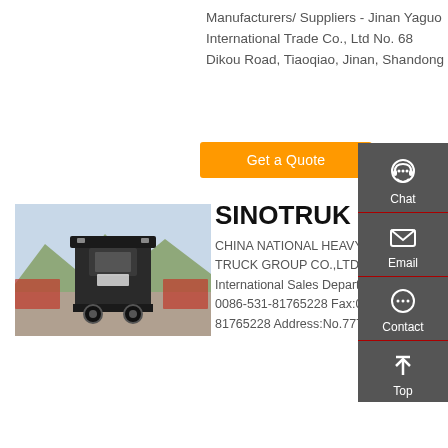Manufacturers/ Suppliers - Jinan Yaguo International Trade Co., Ltd No. 68 Dikou Road, Tiaoqiao, Jinan, Shandong
Get a Quote
[Figure (photo): Rear view of a Sinotruk heavy duty truck in a yard with mountains in background]
SINOTRUK
CHINA NATIONAL HEAVY DUTY TRUCK GROUP CO.,LTD. Sinotruk International Sales Department Tel: 0086-531-81765228 Fax:0086-531-81765228 Address:No.777 Hua'ao